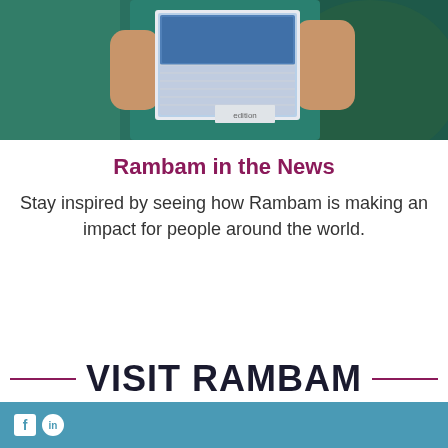[Figure (photo): Person holding an open book/publication against a teal/green background]
Rambam in the News
Stay inspired by seeing how Rambam is making an impact for people around the world.
VISIT RAMBAM